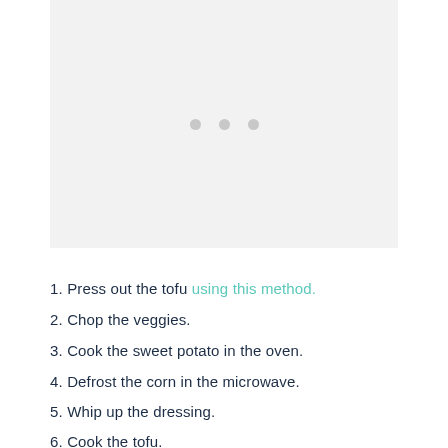[Figure (other): Light gray placeholder image area with three gray dots centered, indicating a loading or missing image state.]
1. Press out the tofu using this method.
2. Chop the veggies.
3. Cook the sweet potato in the oven.
4. Defrost the corn in the microwave.
5. Whip up the dressing.
6. Cook the tofu.